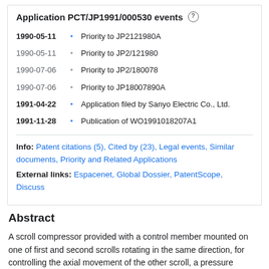Application PCT/JP1991/000530 events
1990-05-11 • Priority to JP2121980A
1990-05-11 • Priority to JP2/121980
1990-07-06 • Priority to JP2/180078
1990-07-06 • Priority to JP18007890A
1991-04-22 • Application filed by Sanyo Electric Co., Ltd.
1991-11-28 • Publication of WO1991018207A1
Info: Patent citations (5), Cited by (23), Legal events, Similar documents, Priority and Related Applications
External links: Espacenet, Global Dossier, PatentScope, Discuss
Abstract
A scroll compressor provided with a control member mounted on one of first and second scrolls rotating in the same direction, for controlling the axial movement of the other scroll, a pressure chamber communicating with a